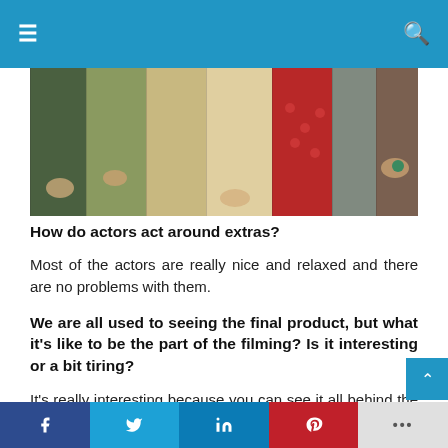Navigation bar with hamburger menu and search icon
[Figure (photo): Group of people dressed in medieval/period costumes, showing torsos and hands, various colored fabrics including green, tan, red with dots, and grey chainmail]
How do actors act around extras?
Most of the actors are really nice and relaxed and there are no problems with them.
We are all used to seeing the final product, but what it's like to be the part of the filming? Is it interesting or a bit tiring?
It's really interesting because you can see it all behind the scenes. When you see the final product after being a part of the filming, you look at it differently than others. It's fun see how the cameras are placed, how it's all managed,
Share bar: Facebook, Twitter, LinkedIn, Pinterest, More